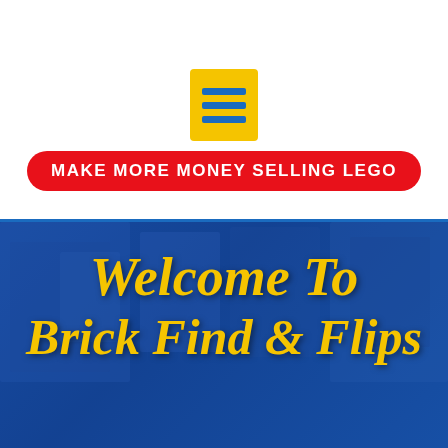[Figure (logo): Yellow square icon with three blue horizontal bars, resembling a Google Docs or menu icon]
MAKE MORE MONEY SELLING LEGO
[Figure (photo): Background photo of LEGO sets and boxes with a dark blue overlay tint]
Welcome To Brick Find & Flips